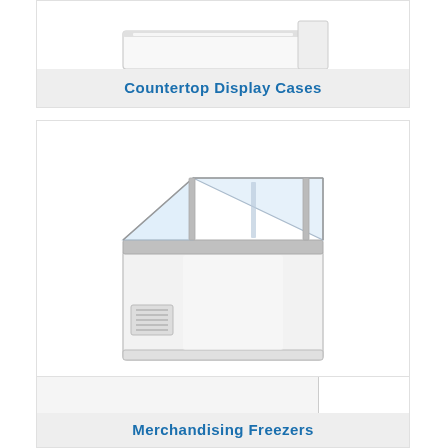[Figure (photo): Partial top view of a countertop display case (white refrigerated unit), cropped at top of page]
Countertop Display Cases
[Figure (photo): Dipping cabinet / chest freezer with angled glass top panels and ventilation grille on the side, white cabinet body]
Dipping Cabinets, Chest Freezers
[Figure (photo): Partial view of a merchandising freezer, mostly white space with an overlay box in lower right corner]
Merchandising Freezers